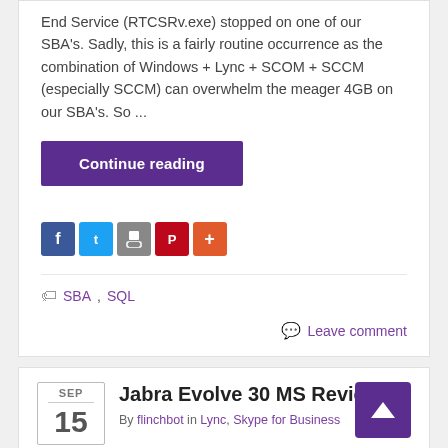End Service (RTCSRv.exe) stopped on one of our SBA's. Sadly, this is a fairly routine occurrence as the combination of Windows + Lync + SCOM + SCCM (especially SCCM) can overwhelm the meager 4GB on our SBA's. So ...
Continue reading
[Figure (other): Social share icons: Facebook, Twitter, Print, Pinterest, More]
SBA, SQL
Leave comment
Jabra Evolve 30 MS Review
By flinchbot in Lync, Skype for Business